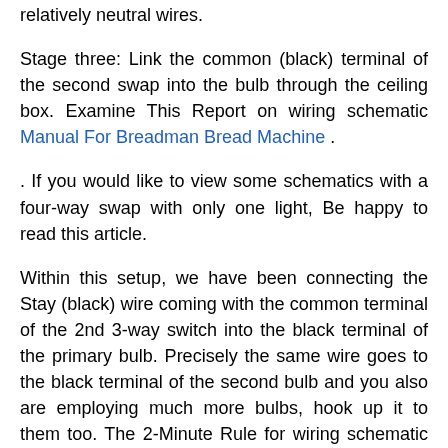relatively neutral wires.
Stage three: Link the common (black) terminal of the second swap into the bulb through the ceiling box. Examine This Report on wiring schematic Manual For Breadman Bread Machine .
. If you would like to view some schematics with a four-way swap with only one light, Be happy to read this article.
Within this setup, we have been connecting the Stay (black) wire coming with the common terminal of the 2nd 3-way switch into the black terminal of the primary bulb. Precisely the same wire goes to the black terminal of the second bulb and you also are employing much more bulbs, hook up it to them too. The 2-Minute Rule for wiring schematic Manual Haier Portable Air Conditioner .